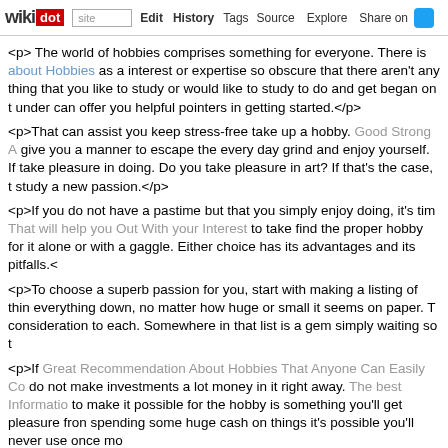wikidot | site | Edit | History | Tags | Source | Explore | Share on [Twitter]
<p> The world of hobbies comprises something for everyone. There is about Hobbies as a interest or expertise so obscure that there aren't any thing that you like to study or would like to study to do and get began on t under can offer you helpful pointers in getting started.</p>
<p>That can assist you keep stress-free take up a hobby. Good Strong A give you a manner to escape the every day grind and enjoy yourself. If take pleasure in doing. Do you take pleasure in art? If that's the case, t study a new passion.</p>
<p>If you do not have a pastime but that you simply enjoy doing, it's tim That will help you Out With your Interest to take find the proper hobby for it alone or with a gaggle. Either choice has its advantages and its pitfalls.<
<p>To choose a superb passion for you, start with making a listing of thin everything down, no matter how huge or small it seems on paper. T consideration to each. Somewhere in that list is a gem simply waiting so t
<p>If Great Recommendation About Hobbies That Anyone Can Easily Co do not make investments a lot money in it right away. The best Informatio to make it possible for the hobby is something you'll get pleasure fron spending some huge cash on things it's possible you'll never use once mo
<p>Do you take pleasure in working exterior? If that's the case, then garc you to undertake. Whether or not you determine to grow a vegetable ba relaxation assured that you'll spend lots of time outdoors having fun wit </p>
<p>Don't neglect your obligations. Hobbies could be a whole lot of enjoy can be straightforward to proceed on when try to be doing one thing